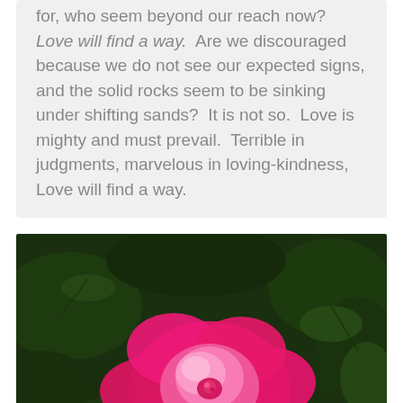for, who seem beyond our reach now? Love will find a way. Are we discouraged because we do not see our expected signs, and the solid rocks seem to be sinking under shifting sands? It is not so. Love is mighty and must prevail. Terrible in judgments, marvelous in loving-kindness, Love will find a way.
[Figure (photo): Close-up photograph of a bright pink rose in bloom surrounded by dark green leaves]